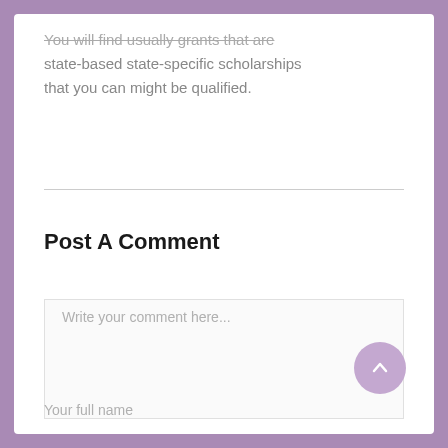You will find usually grants that are state-based state-specific scholarships that you can might be qualified.
Post A Comment
Write your comment here...
Your full name